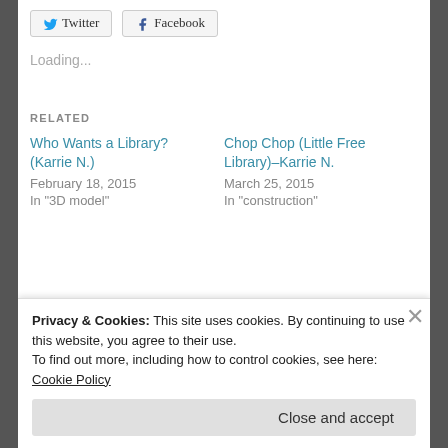[Figure (screenshot): Social share buttons for Twitter and Facebook]
Loading...
RELATED
Who Wants a Library? (Karrie N.)
February 18, 2015
In "3D model"
Chop Chop (Little Free Library)–Karrie N.
March 25, 2015
In "construction"
Fun Cubbies Final Blog Post- (Martinez J, Gutierrez, Calles)
April 28, 2015
Privacy & Cookies: This site uses cookies. By continuing to use this website, you agree to their use.
To find out more, including how to control cookies, see here: Cookie Policy
Close and accept